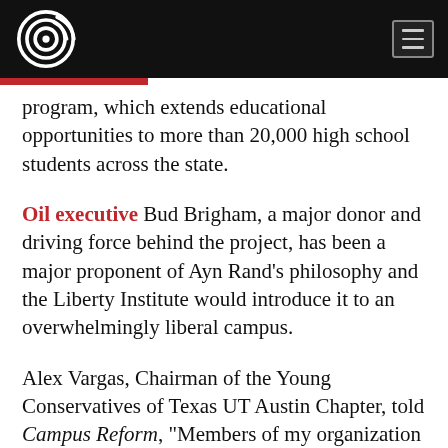Campus Reform logo and navigation
program, which extends educational opportunities to more than 20,000 high school students across the state.
Oil executive Bud Brigham, a major donor and driving force behind the project, has been a major proponent of Ayn Rand’s philosophy and the Liberty Institute would introduce it to an overwhelmingly liberal campus.
Alex Vargas, Chairman of the Young Conservatives of Texas UT Austin Chapter, told Campus Reform, “Members of my organization and I have been excited about this news since it [broke.”]